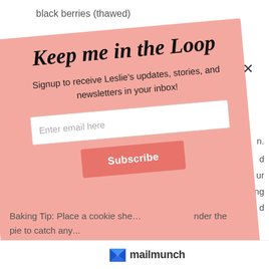black berries (thawed)
[Figure (screenshot): Email signup modal popup with pink background rotated slightly counter-clockwise. Title 'Keep me in the Loop', subtitle about signing up for Leslie's updates, an email input field, and a Subscribe button. Mailmunch branding at bottom.]
n.
d
ur
king
d
Baking Tip: Place a cookie sheet under the pie to catch any...